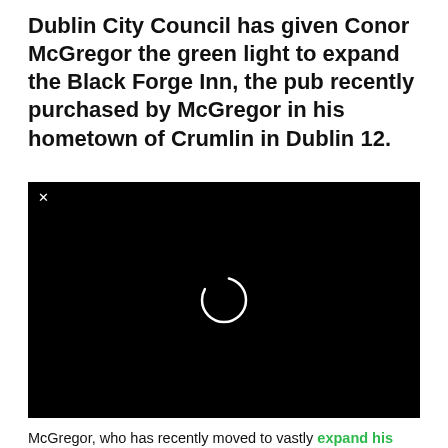Dublin City Council has given Conor McGregor the green light to expand the Black Forge Inn, the pub recently purchased by McGregor in his hometown of Crumlin in Dublin 12.
[Figure (other): Black video player with a loading spinner (circle) in the center and a close (×) button in the top-left corner.]
McGregor, who has recently moved to vastly expand his property portfolio, was granted permission by planning authorities to add an extension to the rear